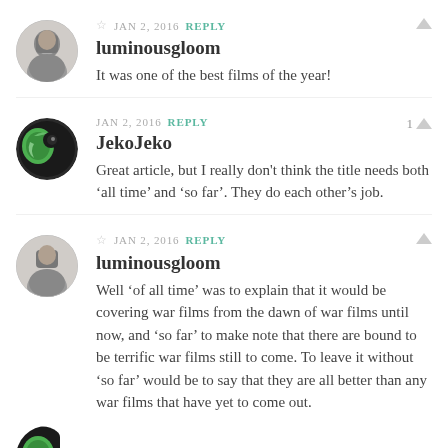[Figure (photo): Circular avatar photo of luminousgloom user, black and white portrait]
☆ JAN 2, 2016 REPLY
luminousgloom
It was one of the best films of the year!
[Figure (illustration): Circular avatar with green and black bird/silhouette illustration for JekoJeko]
JAN 2, 2016 REPLY
JekoJeko
Great article, but I really don't think the title needs both 'all time' and 'so far'. They do each other's job.
[Figure (photo): Circular avatar photo of luminousgloom user, black and white portrait]
☆ JAN 2, 2016 REPLY
luminousgloom
Well 'of all time' was to explain that it would be covering war films from the dawn of war films until now, and 'so far' to make note that there are bound to be terrific war films still to come. To leave it without 'so far' would be to say that they are all better than any war films that have yet to come out.
[Figure (illustration): Partial circular avatar visible at bottom of page]